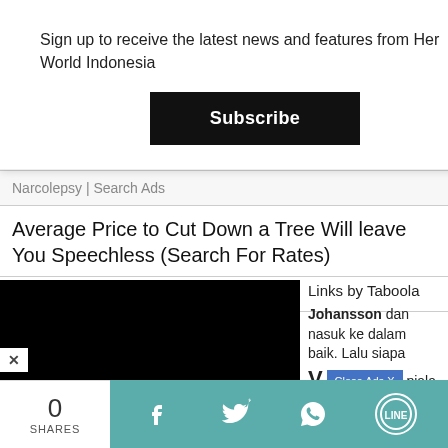Sign up to receive the latest news and features from Her World Indonesia
Subscribe
Narcolepsy | Search Ads
Average Price to Cut Down a Tree Will leave You Speechless (Search For Rates)
Tree service - search ads
Links by Taboola
Johansson dan masuk ke dalam baik. Lalu siapa piala ne!
Close Ads X
0
SHARES